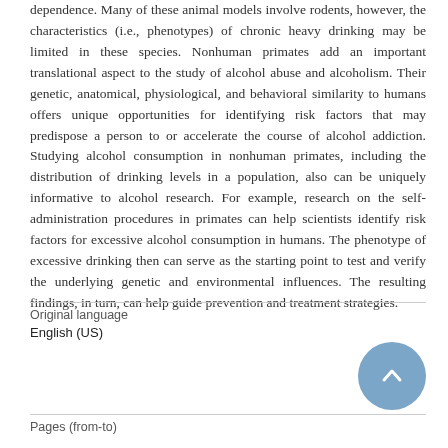dependence. Many of these animal models involve rodents, however, the characteristics (i.e., phenotypes) of chronic heavy drinking may be limited in these species. Nonhuman primates add an important translational aspect to the study of alcohol abuse and alcoholism. Their genetic, anatomical, physiological, and behavioral similarity to humans offers unique opportunities for identifying risk factors that may predispose a person to or accelerate the course of alcohol addiction. Studying alcohol consumption in nonhuman primates, including the distribution of drinking levels in a population, also can be uniquely informative to alcohol research. For example, research on the self-administration procedures in primates can help scientists identify risk factors for excessive alcohol consumption in humans. The phenotype of excessive drinking then can serve as the starting point to test and verify the underlying genetic and environmental influences. The resulting findings, in turn, can help guide prevention and treatment strategies.
| Original language |  |
| --- | --- |
| English (US) |  |
| Pages (from-to) |  |
| --- | --- |